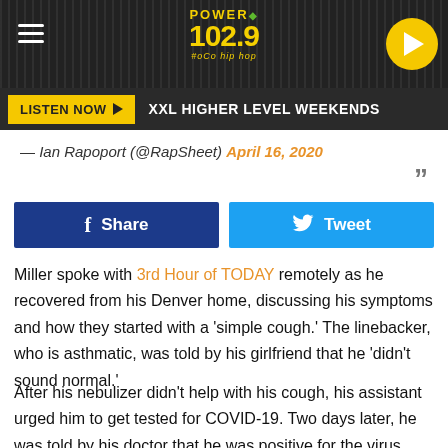[Figure (screenshot): Power 102.9 radio station header with logo, hamburger menu, and play button on dark textured background]
LISTEN NOW ▶   XXL HIGHER LEVEL WEEKENDS
— Ian Rapoport (@RapSheet) April 16, 2020
Share   Tweet
Miller spoke with 3rd Hour of TODAY remotely as he recovered from his Denver home, discussing his symptoms and how they started with a 'simple cough.' The linebacker, who is asthmatic, was told by his girlfriend that he 'didn't sound normal.'
After his nebulizer didn't help with his cough, his assistant urged him to get tested for COVID-19. Two days later, he was told by his doctor that he was positive for the virus.